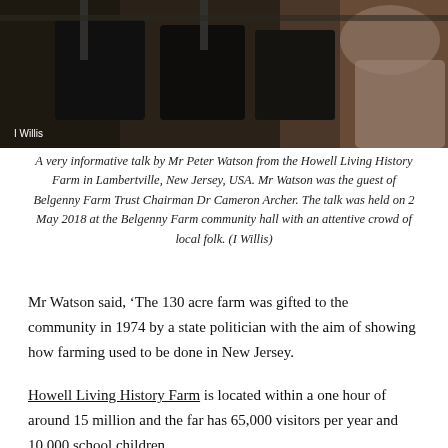[Figure (photo): Photograph of people seated in chairs at the Belgenny Farm community hall event, with a caption label 'I Willis' in the bottom left corner.]
A very informative talk by Mr Peter Watson from the Howell Living History Farm in Lambertville, New Jersey, USA. Mr Watson was the guest of Belgenny Farm Trust Chairman Dr Cameron Archer. The talk was held on 2 May 2018 at the Belgenny Farm community hall with an attentive crowd of local folk. (I Willis)
Mr Watson said, ‘The 130 acre farm was gifted to the community in 1974 by a state politician with the aim of showing how farming used to be done in New Jersey.
Howell Living History Farm is located within a one hour of around 15 million and the far has 65,000 visitors per year and 10,000 school children.